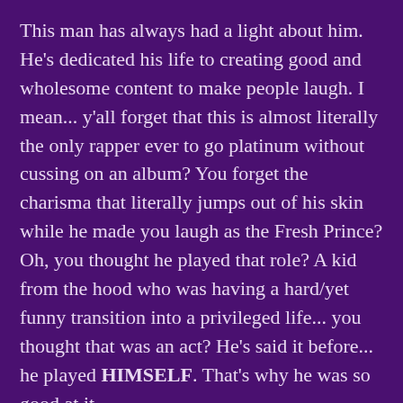This man has always had a light about him. He's dedicated his life to creating good and wholesome content to make people laugh. I mean... y'all forget that this is almost literally the only rapper ever to go platinum without cussing on an album? You forget the charisma that literally jumps out of his skin while he made you laugh as the Fresh Prince? Oh, you thought he played that role? A kid from the hood who was having a hard/yet funny transition into a privileged life... you thought that was an act? He's said it before... he played HIMSELF. That's why he was so good at it.
You could see that God had His hand of favor on his life. Will never claimed God or spoke